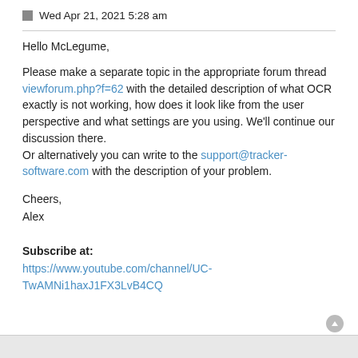Wed Apr 21, 2021 5:28 am
Hello McLegume,
Please make a separate topic in the appropriate forum thread viewforum.php?f=62 with the detailed description of what OCR exactly is not working, how does it look like from the user perspective and what settings are you using. We'll continue our discussion there.
Or alternatively you can write to the support@tracker-software.com with the description of your problem.
Cheers,
Alex
Subscribe at:
https://www.youtube.com/channel/UC-TwAMNi1haxJ1FX3LvB4CQ